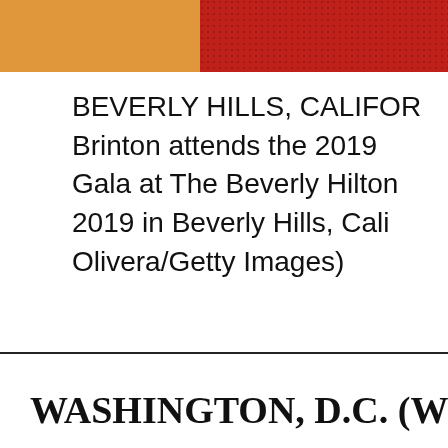[Figure (photo): Partial view of a photograph showing an orange/golden section on the left and a red lace/textured section on the right, cropped at top of page.]
BEVERLY HILLS, CALIFORNIA - Brinton attends the 2019 Gala at The Beverly Hilton 2019 in Beverly Hills, California (Photo by Olivera/Getty Images)
WASHINGTON, D.C. (W